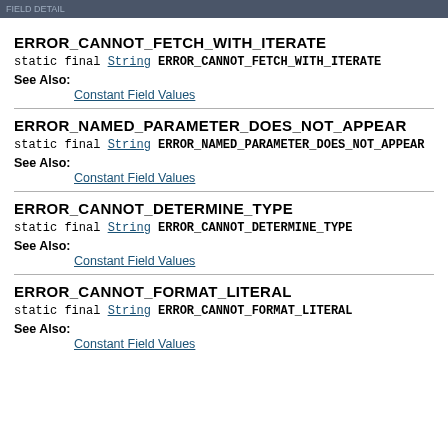FIELD DETAIL
ERROR_CANNOT_FETCH_WITH_ITERATE
static final String ERROR_CANNOT_FETCH_WITH_ITERATE
See Also:
Constant Field Values
ERROR_NAMED_PARAMETER_DOES_NOT_APPEAR
static final String ERROR_NAMED_PARAMETER_DOES_NOT_APPEAR
See Also:
Constant Field Values
ERROR_CANNOT_DETERMINE_TYPE
static final String ERROR_CANNOT_DETERMINE_TYPE
See Also:
Constant Field Values
ERROR_CANNOT_FORMAT_LITERAL
static final String ERROR_CANNOT_FORMAT_LITERAL
See Also:
Constant Field Values